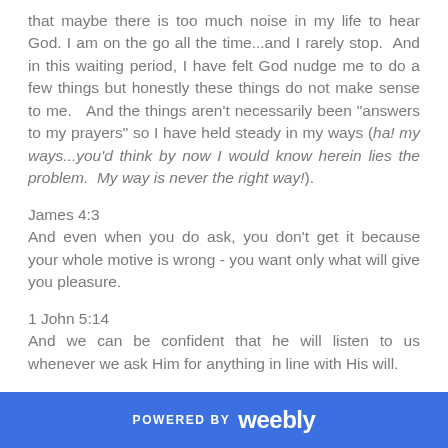that maybe there is too much noise in my life to hear God. I am on the go all the time...and I rarely stop.  And in this waiting period, I have felt God nudge me to do a few things but honestly these things do not make sense to me.   And the things aren't necessarily been "answers to my prayers" so I have held steady in my ways (ha! my ways...you'd think by now I would know herein lies the problem.  My way is never the right way!).
James 4:3
And even when you do ask, you don't get it because your whole motive is wrong - you want only what will give you pleasure.
1 John 5:14
And we can be confident that he will listen to us whenever we ask Him for anything in line with His will.
So I walked into church today really hoping for a little encouragement and direction.  And let's be perfectly honest, by 'direction' I was really seeking reassurance that my way indeed is
POWERED BY weebly